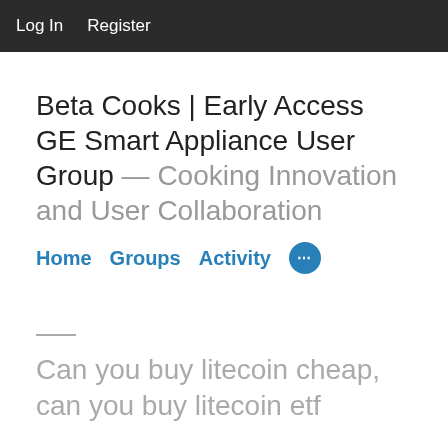Log In   Register
Beta Cooks | Early Access GE Smart Appliance User Group — Cooking Innovation and User Collaboration
Home   Groups   Activity   ...
Can you buy litecoin cheap, can you buy litecoin etf